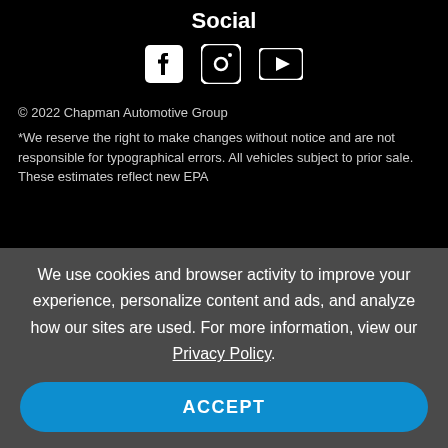Social
[Figure (illustration): Social media icons: Facebook, Instagram, YouTube]
© 2022 Chapman Automotive Group
*We reserve the right to make changes without notice and are not responsible for typographical errors. All vehicles subject to prior sale. These estimates reflect new EPA
We use cookies and browser activity to improve your experience, personalize content and ads, and analyze how our sites are used. For more information, view our Privacy Policy.